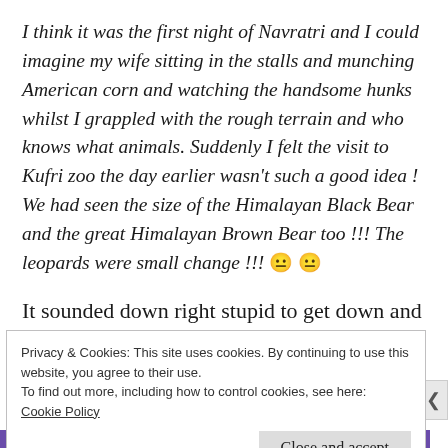I think it was the first night of Navratri and I could imagine my wife sitting in the stalls and munching American corn and watching the handsome hunks whilst I grappled with the rough terrain and who knows what animals. Suddenly I felt the visit to Kufri zoo the day earlier wasn't such a good idea ! We had seen the size of the Himalayan Black Bear and the great Himalayan Brown Bear too !!! The leopards were small change !!! 😐 😐
It sounded down right stupid to get down and pay the guy Rs. 1000 and bid goodbye! It
Privacy & Cookies: This site uses cookies. By continuing to use this website, you agree to their use.
To find out more, including how to control cookies, see here:
Cookie Policy
Close and accept